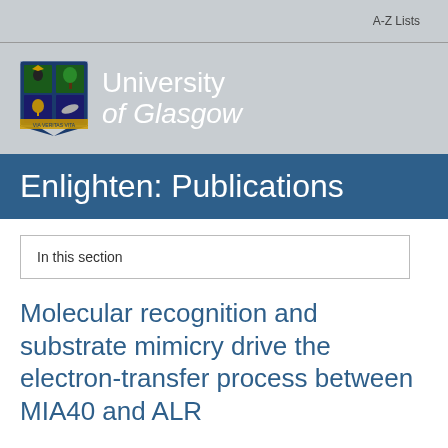A-Z Lists
[Figure (logo): University of Glasgow shield logo with text 'University of Glasgow']
Enlighten: Publications
In this section
Molecular recognition and substrate mimicry drive the electron-transfer process between MIA40 and ALR